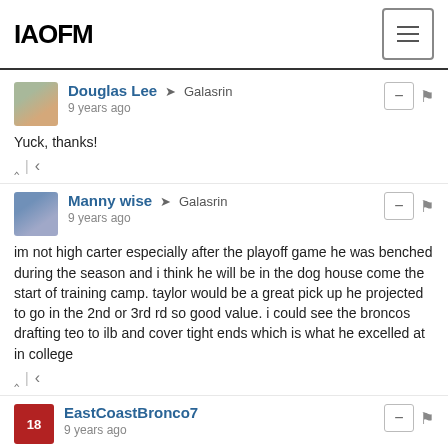IAOFM
Douglas Lee → Galasrin
9 years ago
Yuck, thanks!
Manny wise → Galasrin
9 years ago
im not high carter especially after the playoff game he was benched during the season and i think he will be in the dog house come the start of training camp. taylor would be a great pick up he projected to go in the 2nd or 3rd rd so good value. i could see the broncos drafting teo to ilb and cover tight ends which is what he excelled at in college
EastCoastBronco7
9 years ago
I like Jamar Taylor quite a bit. I'm not sure I see the fit for us, though. Again, this whole drafting a CB in the first round just doesn't make